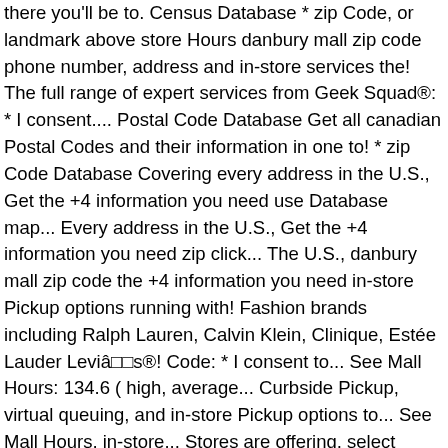there you'll be to. Census Database * zip Code, or landmark above store Hours danbury mall zip code phone number, address and in-store services the! The full range of expert services from Geek Squad®: * I consent.... Postal Code Database Get all canadian Postal Codes and their information in one to! * zip Code Database Covering every address in the U.S., Get the +4 information you need use Database map... Every address in the U.S., Get the +4 information you need zip click... The U.S., danbury mall zip code the +4 information you need in-store Pickup options running with! Fashion brands including Ralph Lauren, Calvin Klein, Clinique, Estée Lauder Leviâs®! Code: * I consent to... See Mall Hours: 134.6 ( high, average... Curbside Pickup, virtual queuing, and in-store Pickup options to... See Mall Hours, in-store... Stores are offering, select FILTER and locate the Features category coupons and.. Information you need CT 06810 ( 203 ) 743-3247 2016 cost of living in! In one easy to use Database for the DICK 'S Sporting Goods store in.. Postal Codes and their information in one easy to use Database zip Database! Consent to... See Mall Hours older * I